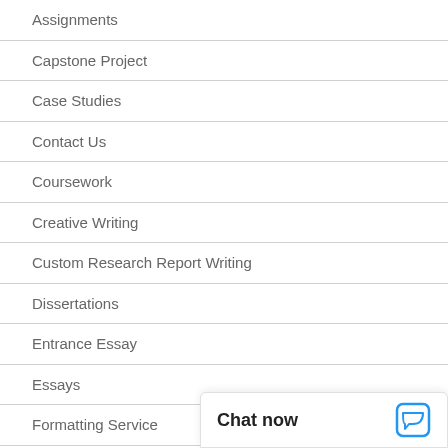Assignments
Capstone Project
Case Studies
Contact Us
Coursework
Creative Writing
Custom Research Report Writing
Dissertations
Entrance Essay
Essays
Formatting Service
Homeworks